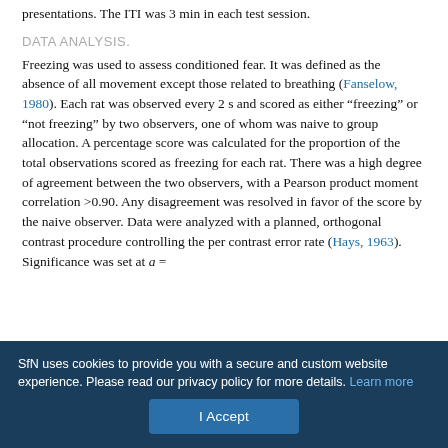presentations. The ITI was 3 min in each test session.
DATA ANALYSIS.
Freezing was used to assess conditioned fear. It was defined as the absence of all movement except those related to breathing (Fanselow, 1980). Each rat was observed every 2 s and scored as either “freezing” or “not freezing” by two observers, one of whom was naive to group allocation. A percentage score was calculated for the proportion of the total observations scored as freezing for each rat. There was a high degree of agreement between the two observers, with a Pearson product moment correlation >0.90. Any disagreement was resolved in favor of the score by the naive observer. Data were analyzed with a planned, orthogonal contrast procedure controlling the per contrast error rate (Hays, 1963). Significance was set at a =
SfN uses cookies to provide you with a secure and custom website experience. Please read our privacy policy for more details. Learn more
I Accept